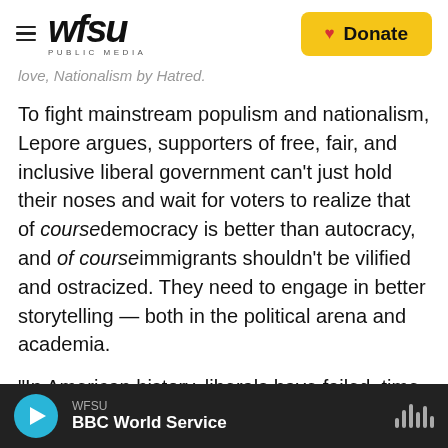WFSU PUBLIC MEDIA | Donate
love, Nationalism by Hatred.
To fight mainstream populism and nationalism, Lepore argues, supporters of free, fair, and inclusive liberal government can't just hold their noses and wait for voters to realize that of course democracy is better than autocracy, and of course immigrants shouldn't be vilified and ostracized. They need to engage in better storytelling — both in the political arena and academia.
"In American history, liberals have failed, time and time again, to defeat illiberalism except by making
WFSU | BBC World Service